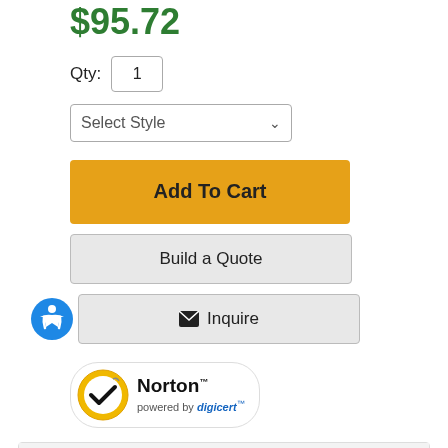$95.72
Qty: 1
Select Style
Add To Cart
Build a Quote
Inquire
[Figure (logo): Norton secured badge with yellow checkmark circle and Norton text, powered by digicert]
Specifications
Width: 18"
Conveyor Width: 18"